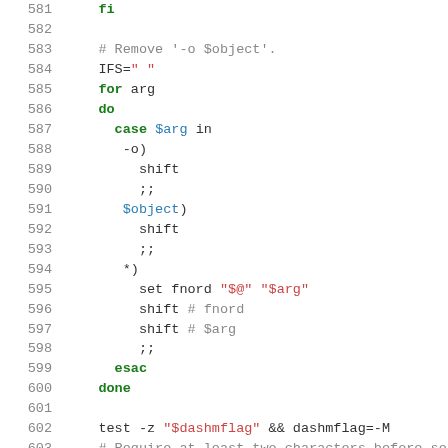Shell script code listing lines 581-607
[Figure (screenshot): Shell script source code with syntax highlighting showing lines 581-607, featuring keywords in green, strings in red, variables in blue, and comments in gray]